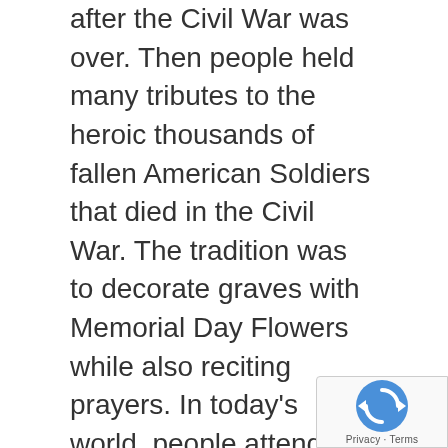after the Civil War was over. Then people held many tributes to the heroic thousands of fallen American Soldiers that died in the Civil War. The tradition was to decorate graves with Memorial Day Flowers while also reciting prayers. In today's world, people attend or participate in parades and have family gatherings in addition to visiting memorials. There are many ways to reflect on our fallen heroes, including ceremonies, celebrations, and festive occasions that focus on patriotism and how much we value the freedom that we hold dear. These selfless warriors fought for us and now we must remember and honor them. Memorial Day celebrations and remembrances often feature memorable and patriotic flowers. They are a great way to reflect the beauty and love represented in remembering these heroes, many of which were our loved ones. The skilled floral designers at Rockca… Florist will proudly assist you with select a caring, thoughtful and patriot flower arrangement or green
[Figure (other): reCAPTCHA widget overlay in the bottom-right corner showing the reCAPTCHA logo and 'Privacy - Terms' text]